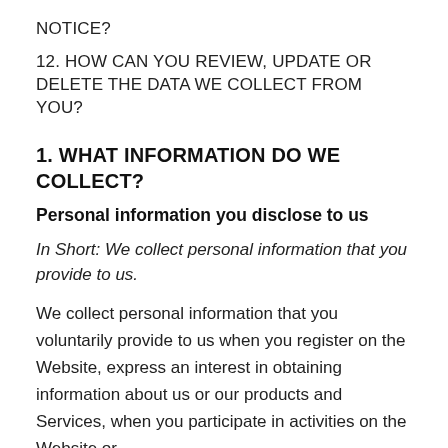NOTICE?
12. HOW CAN YOU REVIEW, UPDATE OR DELETE THE DATA WE COLLECT FROM YOU?
1. WHAT INFORMATION DO WE COLLECT?
Personal information you disclose to us
In Short: We collect personal information that you provide to us.
We collect personal information that you voluntarily provide to us when you register on the Website, express an interest in obtaining information about us or our products and Services, when you participate in activities on the Website or